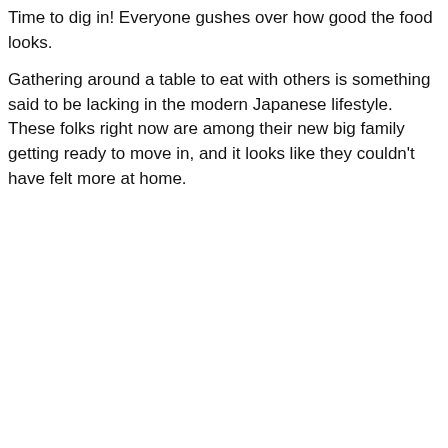Time to dig in! Everyone gushes over how good the food looks.
Gathering around a table to eat with others is something said to be lacking in the modern Japanese lifestyle. These folks right now are among their new big family getting ready to move in, and it looks like they couldn't have felt more at home.